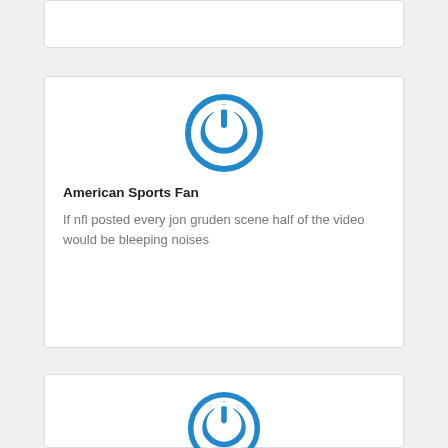[Figure (logo): Blue power button icon (circle with power symbol) for American Sports Fan card - partial top card]
[Figure (logo): Blue power button icon (circle with power symbol) for American Sports Fan]
American Sports Fan
If nfl posted every jon gruden scene half of the video would be bleeping noises
[Figure (logo): Blue power button icon (circle with power symbol) for Hector Rodriguez]
Hector Rodriguez
This will be the Raiders last Rodeo playing in Oakland heading to Las Vegas Nevada next year